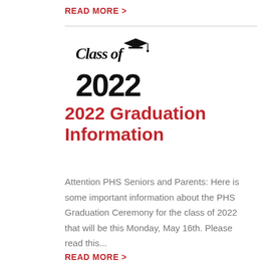READ MORE >
[Figure (illustration): Class of 2022 graduation cap logo with stylized text]
2022 Graduation Information
Attention PHS Seniors and Parents: Here is some important information about the PHS Graduation Ceremony for the class of 2022 that will be this Monday, May 16th. Please read this...
READ MORE >